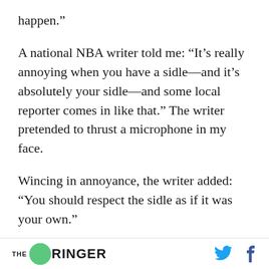happen.”
A national NBA writer told me: “It’s really annoying when you have a sidle—and it’s absolutely your sidle—and some local reporter comes in like that.” The writer pretended to thrust a microphone in my face.
Wincing in annoyance, the writer added: “You should respect the sidle as if it was your own.”
ot a minute to hear why NBA reporters sidle? One reason is that reporters don’t
[Figure (logo): The Ringer logo with green circle]
[Figure (logo): Twitter bird icon and Facebook f icon]